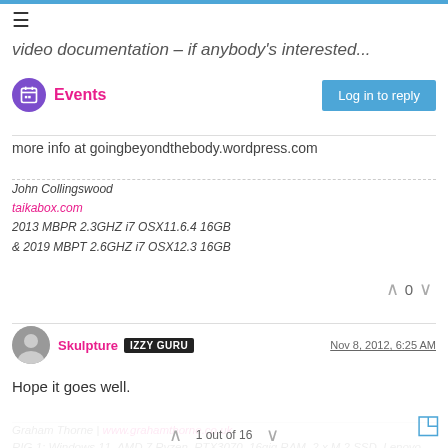video documentation – if anybody's interested...
Events
Log in to reply
more info at goingbeyondthebody.wordpress.com
John Collingswood
taikabox.com
2013 MBPR 2.3GHZ i7 OSX11.6.4 16GB
& 2019 MBPT 2.6GHZ i7 OSX12.3 16GB
0
Skulpture IZZY GURU  Nov 8, 2012, 6:25 AM
Hope it goes well.
Graham Thorne | www.grahamthorne.co.uk
RIG 1: Windows 11, AMD 7 Ryzen, RTX3070, 16gig RAM. 2 x M.2 SSD. Lenovo Legion 5 gaming laptop.
1 out of 16